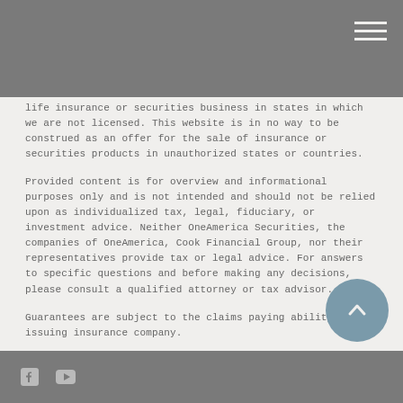life insurance or securities business in states in which we are not licensed. This website is in no way to be construed as an offer for the sale of insurance or securities products in unauthorized states or countries.
Provided content is for overview and informational purposes only and is not intended and should not be relied upon as individualized tax, legal, fiduciary, or investment advice. Neither OneAmerica Securities, the companies of OneAmerica, Cook Financial Group, nor their representatives provide tax or legal advice. For answers to specific questions and before making any decisions, please consult a qualified attorney or tax advisor.
Guarantees are subject to the claims paying ability of the issuing insurance company.
Cook Financial Group is not affiliated with or endorsed by the Social Security Administration, the Centers for Medicare & Medicaid Services, or any other governmental agency.
Investing involves risk which includes potential loss of principal.